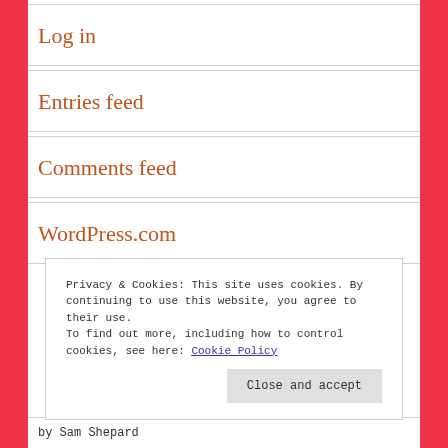Log in
Entries feed
Comments feed
WordPress.com
Privacy & Cookies: This site uses cookies. By continuing to use this website, you agree to their use.
To find out more, including how to control cookies, see here: Cookie Policy
Close and accept
by Sam Shepard